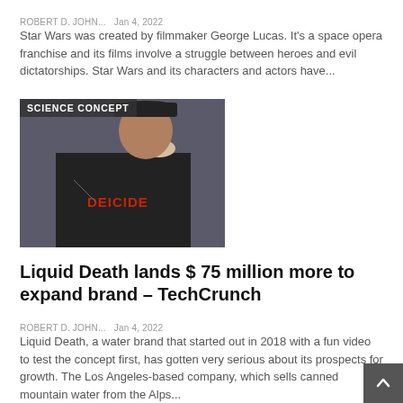ROBERT D. JOHN...   Jan 4, 2022
Star Wars was created by filmmaker George Lucas. It's a space opera franchise and its films involve a struggle between heroes and evil dictatorships. Star Wars and its characters and actors have...
[Figure (photo): Man wearing a Deicide t-shirt drinking from a can, with 'SCIENCE CONCEPT' label overlay in top-left corner]
Liquid Death lands $ 75 million more to expand brand – TechCrunch
ROBERT D. JOHN...   Jan 4, 2022
Liquid Death, a water brand that started out in 2018 with a fun video to test the concept first, has gotten very serious about its prospects for growth. The Los Angeles-based company, which sells canned mountain water from the Alps...